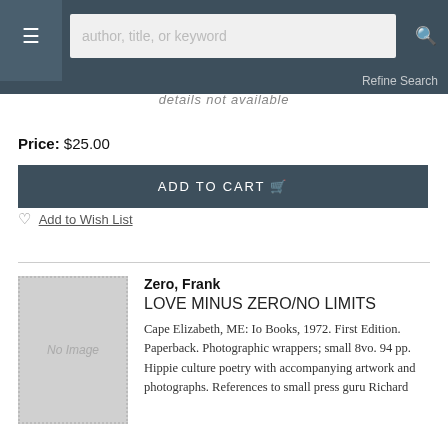author, title, or keyword | Refine Search
details not available
Price: $25.00
ADD TO CART
Add to Wish List
Zero, Frank
LOVE MINUS ZERO/NO LIMITS
Cape Elizabeth, ME: Io Books, 1972. First Edition. Paperback. Photographic wrappers; small 8vo. 94 pp. Hippie culture poetry with accompanying artwork and photographs. References to small press guru Richard